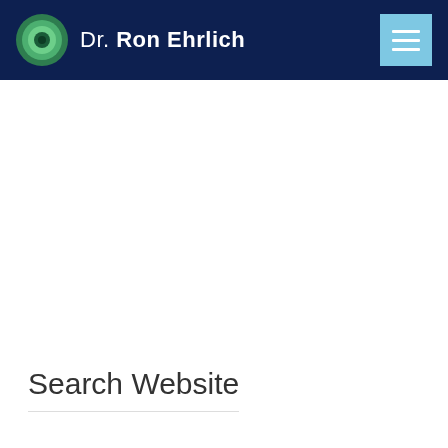Dr. Ron Ehrlich
Search Website